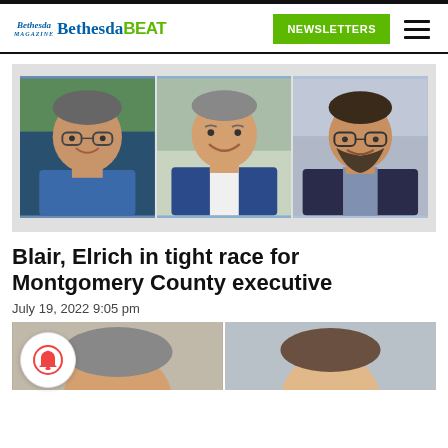Bethesda Bethesda BEAT | NEWSLETTERS
[Figure (photo): Three headshot photos of candidates: an older man in a blue shirt, a middle-aged man in a blue blazer, and a younger man with glasses and a beard in a dark jacket, displayed side by side on a light gray background.]
Blair, Elrich in tight race for Montgomery County executive
July 19, 2022 9:05 pm
[Figure (photo): Partial view of two additional candidate headshots at the bottom of the page, cropped.]